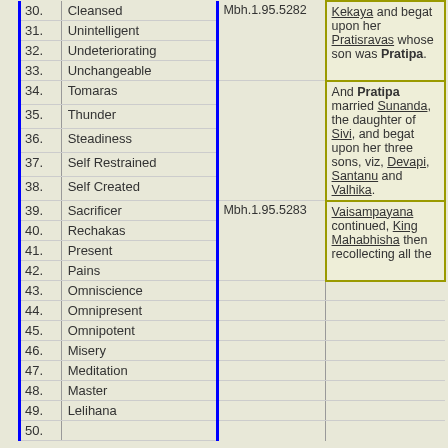| No. | Name | Reference | Text |
| --- | --- | --- | --- |
| 30. | Cleansed | Mbh.1.95.5282 | Kekaya and begat upon her Pratisravas whose son was Pratipa. |
| 31. | Unintelligent |  |  |
| 32. | Undeteriorating |  |  |
| 33. | Unchangeable |  |  |
| 34. | Tomaras |  | And Pratipa married Sunanda, the daughter of Sivi, and begat upon her three sons, viz, Devapi, Santanu and Valhika. |
| 35. | Thunder | Mbh.1.95.5283 |  |
| 36. | Steadiness |  |  |
| 37. | Self Restrained |  |  |
| 38. | Self Created |  |  |
| 39. | Sacrificer |  | Vaisampayana continued, King Mahabhisha then recollecting all the |
| 40. | Rechakas |  |  |
| 41. | Present |  |  |
| 42. | Pains |  |  |
| 43. | Omniscience |  |  |
| 44. | Omnipresent |  |  |
| 45. | Omnipotent |  |  |
| 46. | Misery |  |  |
| 47. | Meditation |  |  |
| 48. | Master |  |  |
| 49. | Lelihana |  |  |
| 50. | ... |  |  |